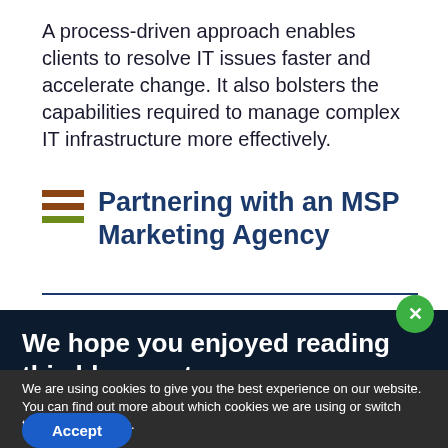A process-driven approach enables clients to resolve IT issues faster and accelerate change. It also bolsters the capabilities required to manage complex IT infrastructure more effectively.
Partnering with an MSP Marketing Agency
We hope you enjoyed reading this blog post
We are using cookies to give you the best experience on our website.
You can find out more about which cookies we are using or switch them off in settings.
Accept